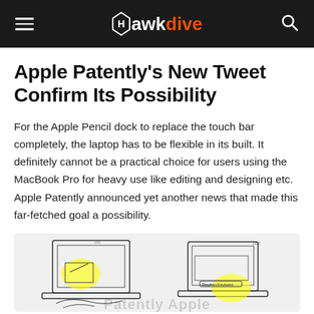Hawkdive
Apple Patently's New Tweet Confirm Its Possibility
For the Apple Pencil dock to replace the touch bar completely, the laptop has to be flexible in its built. It definitely cannot be a practical choice for users using the MacBook Pro for heavy use like editing and designing etc. Apple Patently announced yet another news that made this far-fetched goal a possibility.
[Figure (illustration): Patent illustration showing two MacBook laptop diagrams with yellow highlighted circles indicating Apple Pencil dock areas, with 'Patently Apple' watermark text at the bottom.]